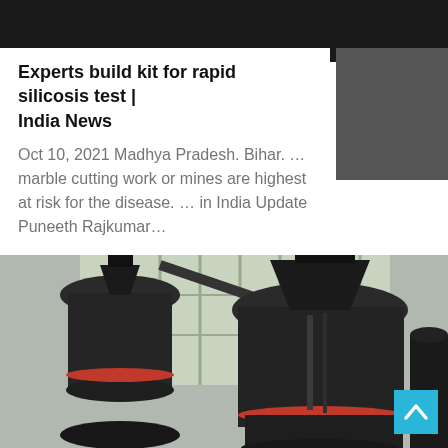[Figure (photo): Dark industrial machinery photo strip at the top of the page, showing mining or stone cutting equipment.]
Experts build kit for rapid silicosis test | India News
Oct 10, 2021 Madhya Pradesh. Bihar. … marble cutting work or mines are highest at risk for the disease. … in India Update Puneeth Rajkumar…
[Figure (photo): Industrial stone cutting or mining machines — two large dark cylindrical grinding/milling machines with red ring accents, photographed indoors in a factory/workshop setting with windows in the background.]